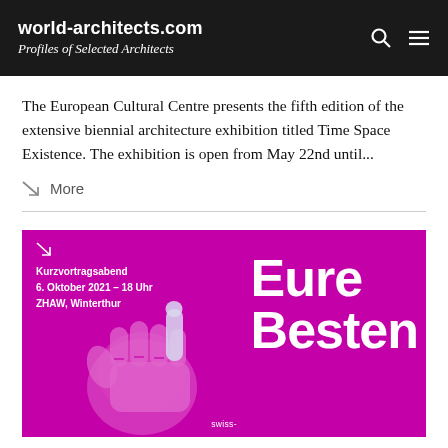world-architects.com Profiles of Selected Architects
The European Cultural Centre presents the fifth edition of the extensive biennial architecture exhibition titled Time Space Existence. The exhibition is open from May 22nd until...
↘  More
[Figure (illustration): Magenta promotional poster for 'Eure Besten' event showing a pointing fist graphic. Text reads: Kurzvortragsabend, 6. Oktober 2021 – 18 Uhr, ZHAW, Winterthur. Large text: Eure Besten. Bottom text: swiss-...]